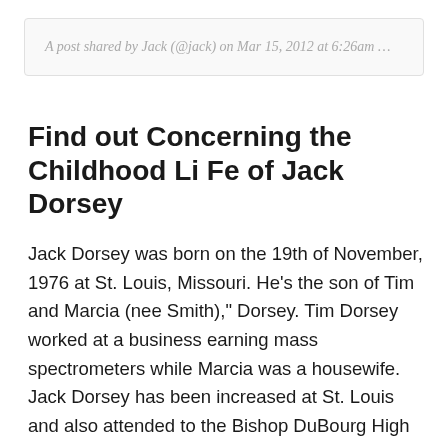A post shared by Jack (@jack) on Mar 15, 2012 at 6:26am …
Find out Concerning the Childhood Li Fe of Jack Dorsey
Jack Dorsey was born on the 19th of November, 1976 at St. Louis, Missouri. He's the son of Tim and Marcia (nee Smith)," Dorsey. Tim Dorsey worked at a business earning mass spectrometers while Marcia was a housewife. Jack Dorsey has been increased at St. Louis and also attended to the Bishop DuBourg High School, a Catholic high school in his own hometown. Afterwards he moved to attend to the Missouri University of Science and Technology before moving into the New York University Tandon School of Engineering. He dropped from the college to pursue his own career…